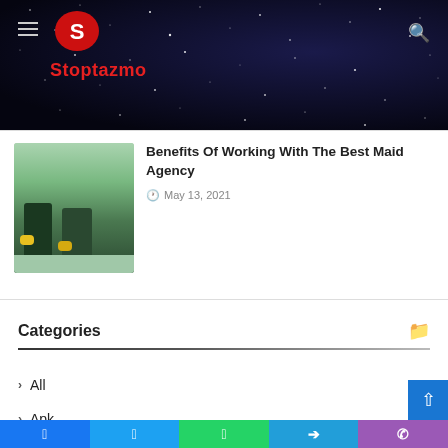[Figure (logo): Stoptazmo website logo with red S icon and red text 'Stoptazmo' on dark starry background]
Benefits Of Working With The Best Maid Agency
May 13, 2021
Categories
All
Apk
Apps
Automotive
Business